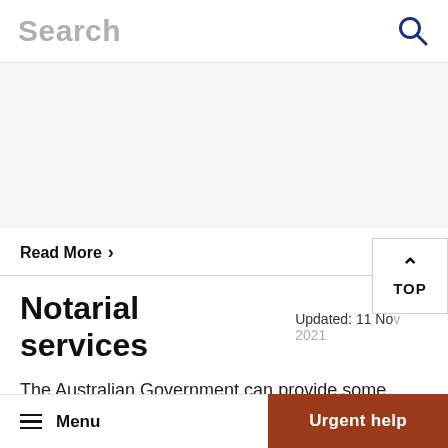Search
Read More >
Notarial services
Updated: 11 Nov 2021
The Australian Government can provide some
Menu   Urgent help